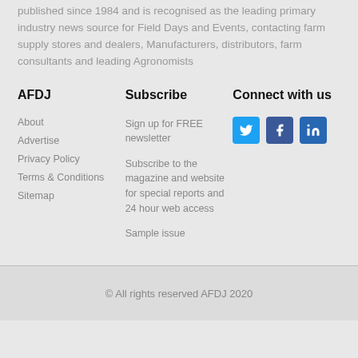published since 1984 and is recognised as the leading primary industry news source for Field Days and Events, contacting farm supply stores and dealers, Manufacturers, distributors, farm consultants and leading Agronomists
AFDJ
Subscribe
Connect with us
About
Advertise
Privacy Policy
Terms & Conditions
Sitemap
Sign up for FREE newsletter
Subscribe to the magazine and website for special reports and 24 hour web access
Sample issue
[Figure (illustration): Three social media icon buttons: Twitter (blue bird icon), Facebook (blue f icon), LinkedIn (blue in icon)]
© All rights reserved AFDJ 2020